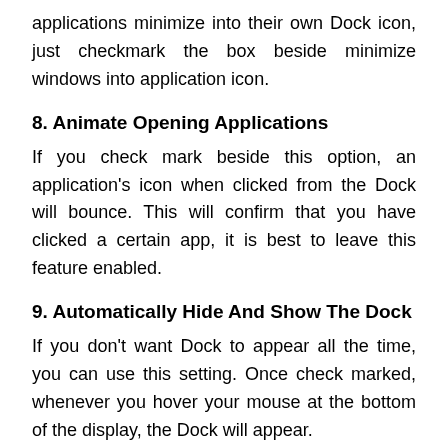applications minimize into their own Dock icon, just checkmark the box beside minimize windows into application icon.
8. Animate Opening Applications
If you check mark beside this option, an application's icon when clicked from the Dock will bounce. This will confirm that you have clicked a certain app, it is best to leave this feature enabled.
9. Automatically Hide And Show The Dock
If you don't want Dock to appear all the time, you can use this setting. Once check marked, whenever you hover your mouse at the bottom of the display, the Dock will appear.